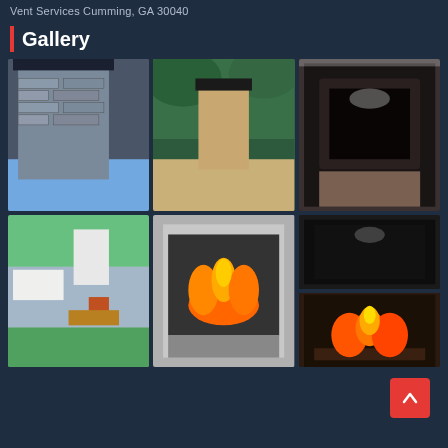Vent Services Cumming, GA 30040
Gallery
[Figure (photo): Exterior brick chimney and roof with dark cap]
[Figure (photo): Brick chimney with black metal cap on paved surface surrounded by trees]
[Figure (photo): Interior fireplace insert, dark metal, glass front]
[Figure (photo): House exterior with white brick chimney, blue siding, deck]
[Figure (photo): Fireplace insert with burning fire, brick surround]
[Figure (photo): Gas log fireplace insert with burning fire, two views]
^